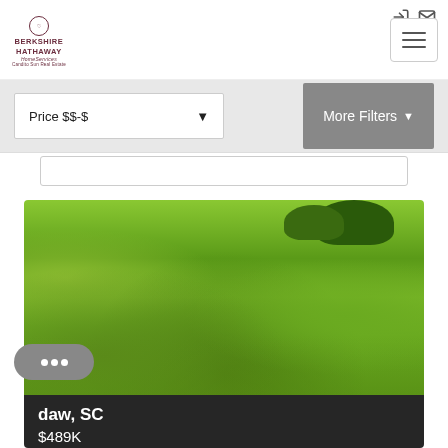[Figure (logo): Berkshire Hathaway HomeServices Candito Sun Real Estate logo]
Price $$-$
More Filters
[Figure (photo): Outdoor grassy field with trees in background - property listing photo]
daw, SC
$489K